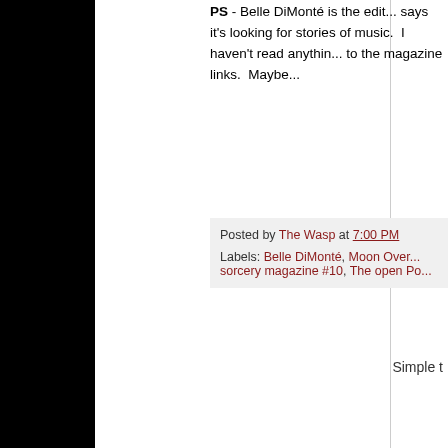PS - Belle DiMonté is the edit... says it's looking for stories of music. I haven't read anythin... to the magazine links. Maybe...
Posted by The Wasp at 7:00 PM
Labels: Belle DiMonté, Moon Over... sorcery magazine #10, The open Po...
Newer Posts
Subscribe to: Posts (Atom)
Simple t